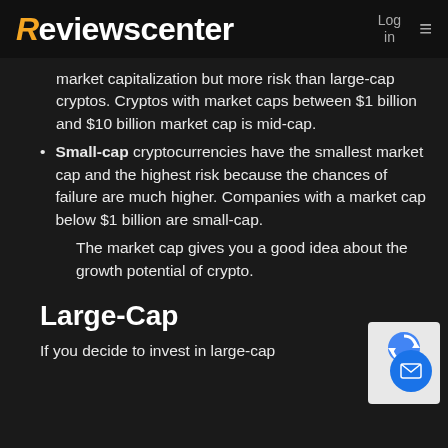Reviewscenter  Log in  ≡
market capitalization but more risk than large-cap cryptos. Cryptos with market caps between $1 billion and $10 billion market cap is mid-cap.
Small-cap cryptocurrencies have the smallest market cap and the highest risk because the chances of failure are much higher. Companies with a market cap below $1 billion are small-cap.
The market cap gives you a good idea about the growth potential of crypto.
Large-Cap
If you decide to invest in large-cap